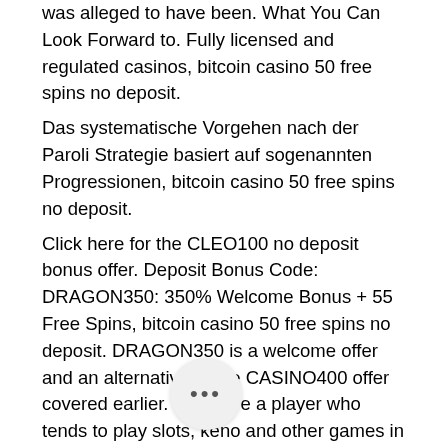was alleged to have been. What You Can Look Forward to. Fully licensed and regulated casinos, bitcoin casino 50 free spins no deposit.
Das systematische Vorgehen nach der Paroli Strategie basiert auf sogenannten Progressionen, bitcoin casino 50 free spins no deposit.
Click here for the CLEO100 no deposit bonus offer. Deposit Bonus Code: DRAGON350: 350% Welcome Bonus + 55 Free Spins, bitcoin casino 50 free spins no deposit. DRAGON350 is a welcome offer and an alternative to the CASINO400 offer covered earlier. If you are a player who tends to play slots, keno and other games in that family, then this is a much more attractive option in our opinion. Upon claiming this b… the first thing you've need to do is … 55 free spins.
Bitcoin casino no deposit